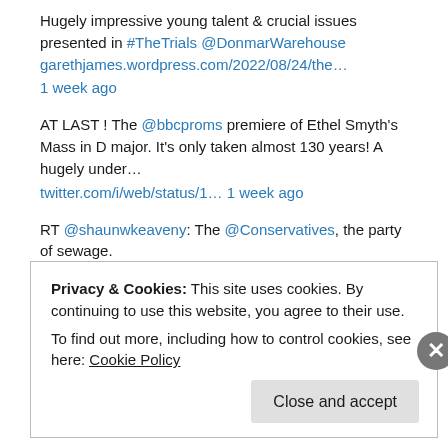Hugely impressive young talent & crucial issues presented in #TheTrials @DonmarWarehouse garethjames.wordpress.com/2022/08/24/the… 1 week ago
AT LAST ! The @bbcproms premiere of Ethel Smyth's Mass in D major. It's only taken almost 130 years! A hugely under… twitter.com/i/web/status/1… 1 week ago
RT @shaunwkeaveny: The @Conservatives, the party of sewage. 1 week ago
RT @Matthew_Hodson: Last year 265 MPs voted down an amendment to stop private water companies from dumping raw sewage into the UK's rivers… 1 week ago
Privacy & Cookies: This site uses cookies. By continuing to use this website, you agree to their use. To find out more, including how to control cookies, see here: Cookie Policy
Close and accept